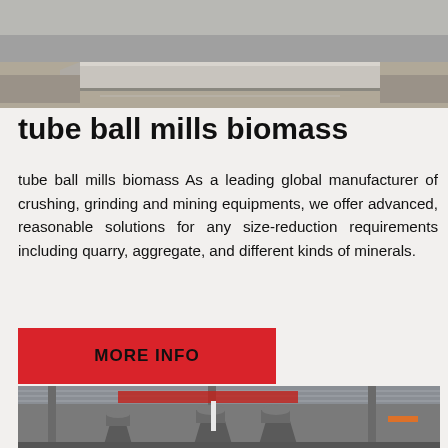[Figure (photo): Outdoor photo of a concrete slab or flat stone surface at a mining or construction site, with a rough gravel/dirt ground in the background]
tube ball mills biomass
tube ball mills biomass As a leading global manufacturer of crushing, grinding and mining equipments, we offer advanced, reasonable solutions for any size-reduction requirements including quarry, aggregate, and different kinds of minerals.
MORE INFO
[Figure (photo): Industrial interior photo of a manufacturing facility showing large grey cone-shaped grinding or crushing machines (tube ball mills) inside a warehouse/factory with steel columns and a corrugated metal roof]